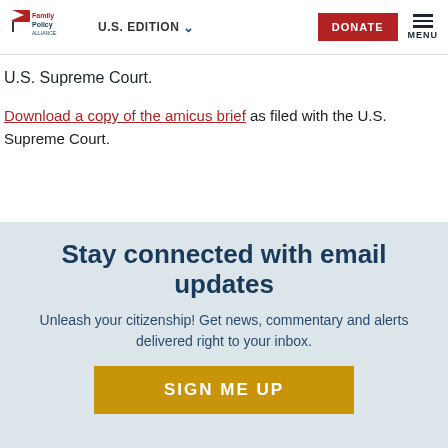Family Policy Alliance | U.S. EDITION | DONATE | MENU
U.S. Supreme Court.
Download a copy of the amicus brief as filed with the U.S. Supreme Court.
Stay connected with email updates
Unleash your citizenship! Get news, commentary and alerts delivered right to your inbox.
SIGN ME UP